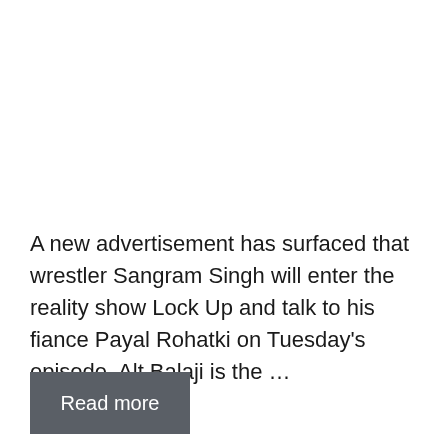A new advertisement has surfaced that wrestler Sangram Singh will enter the reality show Lock Up and talk to his fiance Payal Rohatki on Tuesday's episode. Alt Balaji is the …
Read more